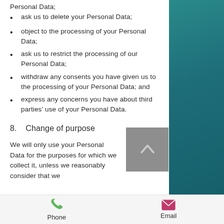ask us to delete your Personal Data;
object to the processing of your Personal Data;
ask us to restrict the processing of our Personal Data;
withdraw any consents you have given us to the processing of your Personal Data; and
express any concerns you have about third parties' use of your Personal Data.
8.  Change of purpose
We will only use your Personal Data for the purposes for which we collect it, unless we reasonably consider that we
Phone  Email